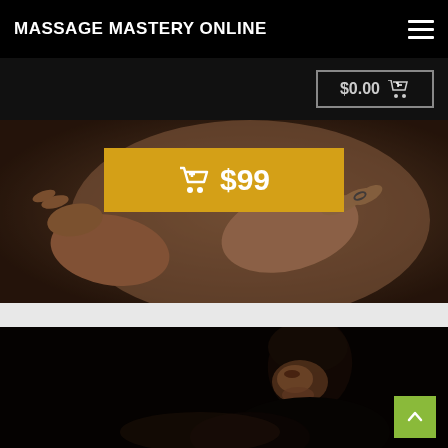MASSAGE MASTERY ONLINE
$0.00
[Figure (photo): Close-up photo of hands performing a massage on a person's back, dark warm-toned background]
$99
[Figure (photo): Photo of a woman with short dark hair looking downward, performing massage work, dark background]